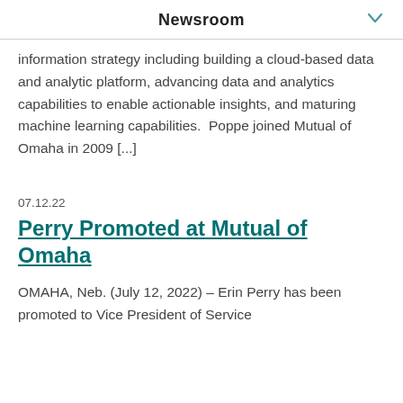Newsroom
information strategy including building a cloud-based data and analytic platform, advancing data and analytics capabilities to enable actionable insights, and maturing machine learning capabilities.  Poppe joined Mutual of Omaha in 2009 [...]
07.12.22
Perry Promoted at Mutual of Omaha
OMAHA, Neb. (July 12, 2022) – Erin Perry has been promoted to Vice President of Service